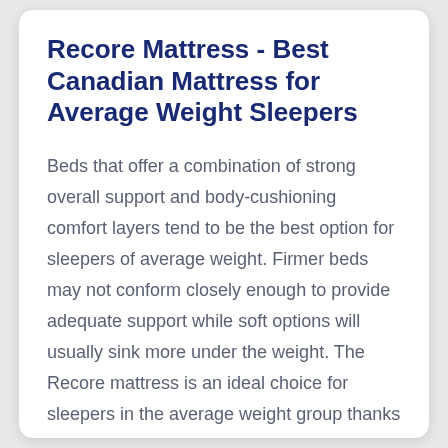Recore Mattress - Best Canadian Mattress for Average Weight Sleepers
Beds that offer a combination of strong overall support and body-cushioning comfort layers tend to be the best option for sleepers of average weight. Firmer beds may not conform closely enough to provide adequate support while soft options will usually sink more under the weight. The Recore mattress is an ideal choice for sleepers in the average weight group thanks to the comfortable layers of gel-